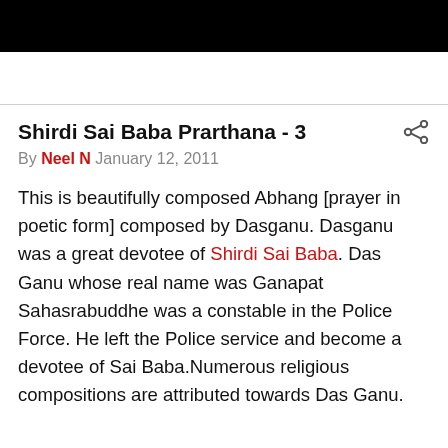Shirdi Sai Baba Prarthana - 3
By Neel N January 12, 2011
This is beautifully composed Abhang [prayer in poetic form] composed by Dasganu. Dasganu was a great devotee of Shirdi Sai Baba. Das Ganu whose real name was Ganapat Sahasrabuddhe was a constable in the Police Force. He left the Police service and become a devotee of Sai Baba.Numerous religious compositions are attributed towards Das Ganu.